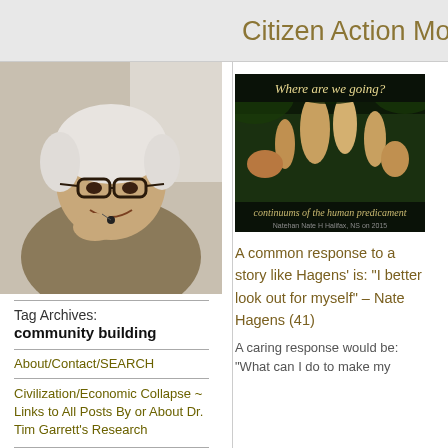Citizen Action Monitor
[Figure (photo): Portrait photo of an elderly man with white hair and glasses, smiling, resting chin on hand]
Tag Archives: community building
About/Contact/SEARCH
Civilization/Economic Collapse ~ Links to All Posts By or About Dr. Tim Garrett's Research
Teachings of Dr. Nate Hagens about The Human
[Figure (photo): Book/artwork image with text 'Where are we going?' and 'continuums of the human predicament']
A common response to a story like Hagens’ is: “I better look out for myself” – Nate Hagens (41)
A caring response would be: “What can I do to make my
[Figure (photo): Partial book/artwork image with text 'Wh...' and 'conti...']
Addic... has no... fulfilli... Ameri... (40)
What’s... smorga...